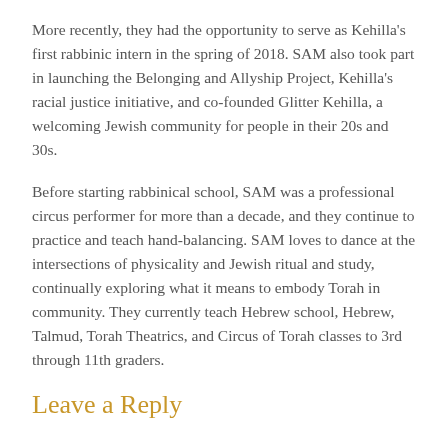More recently, they had the opportunity to serve as Kehilla's first rabbinic intern in the spring of 2018. SAM also took part in launching the Belonging and Allyship Project, Kehilla's racial justice initiative, and co-founded Glitter Kehilla, a welcoming Jewish community for people in their 20s and 30s.
Before starting rabbinical school, SAM was a professional circus performer for more than a decade, and they continue to practice and teach hand-balancing. SAM loves to dance at the intersections of physicality and Jewish ritual and study, continually exploring what it means to embody Torah in community. They currently teach Hebrew school, Hebrew, Talmud, Torah Theatrics, and Circus of Torah classes to 3rd through 11th graders.
Leave a Reply